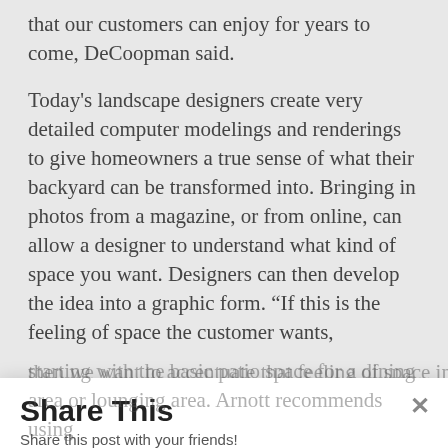that our customers can enjoy for years to come, DeCoopman said.
Today's landscape designers create very detailed computer modelings and renderings to give homeowners a true sense of what their backyard can be transformed into. Bringing in photos from a magazine, or from online, can allow a designer to understand what kind of space you want. Designers can then develop the idea into a graphic form. “If this is the feeling of space the customer wants,
then we want to accentuate that feeling of space in the design. Once designed, now it’s all about products and prices and coming up with a plan.
[Figure (screenshot): Share This modal overlay with Facebook and Twitter share buttons. Title reads 'Share This', subtitle 'Share this post with your friends!', with a close (x) button, a blue Facebook button and a cyan Twitter button.]
starting with the basic patio space for a dining area or lounging area. Arnott recommends using